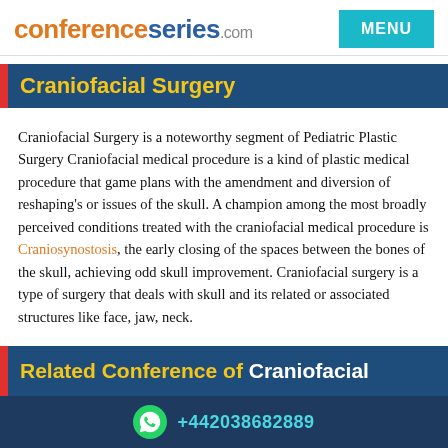conferenceseries.com | MENU
Craniofacial Surgery
Craniofacial Surgery is a noteworthy segment of Pediatric Plastic Surgery Craniofacial medical procedure is a kind of plastic medical procedure that game plans with the amendment and diversion of reshaping's or issues of the skull. A champion among the most broadly perceived conditions treated with the craniofacial medical procedure is Craniosynostosis, the early closing of the spaces between the bones of the skull, achieving odd skull improvement. Craniofacial surgery is a type of surgery that deals with skull and its related or associated structures like face, jaw, neck.
Related Conference of Craniofacial
+442038682889